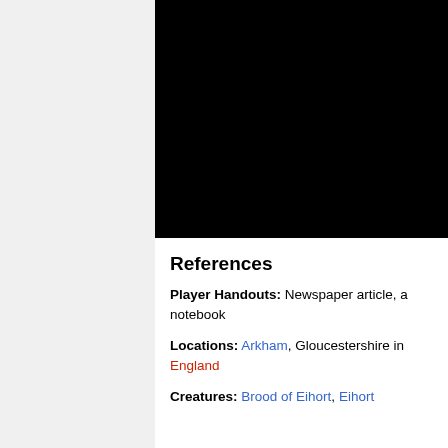[Figure (photo): Black rectangular image filling the upper right portion of the page]
References
Player Handouts: Newspaper article, a notebook
Locations: Arkham, Gloucestershire in England
Creatures: Brood of Eihort, Eihort